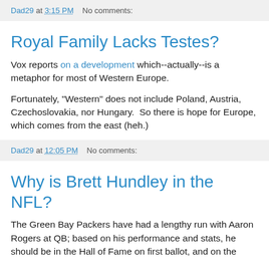Dad29 at 3:15 PM    No comments:
Royal Family Lacks Testes?
Vox reports on a development which--actually--is a metaphor for most of Western Europe.
Fortunately, "Western" does not include Poland, Austria, Czechoslovakia, nor Hungary.  So there is hope for Europe, which comes from the east (heh.)
Dad29 at 12:05 PM    No comments:
Why is Brett Hundley in the NFL?
The Green Bay Packers have had a lengthy run with Aaron Rogers at QB; based on his performance and stats, he should be in the Hall of Fame on first ballot, and on the [longer text continues off page]